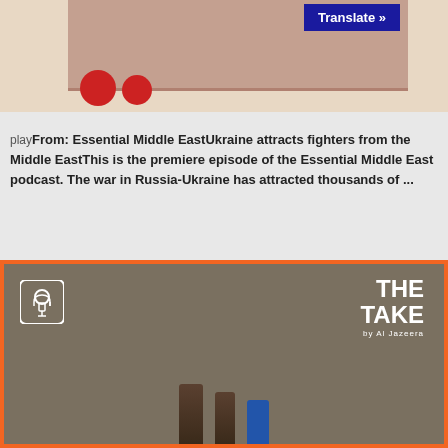[Figure (photo): Top image area showing a decorative image with red circles and a Translate button overlay on a beige/tan background]
playFrom: Essential Middle EastUkraine attracts fighters from the Middle EastThis is the premiere episode of the Essential Middle East podcast. The war in Russia-Ukraine has attracted thousands of ...
[Figure (photo): The Take by Al Jazeera podcast cover image with orange border, microphone logo, dark olive background, and bullet/chess piece shapes at bottom]